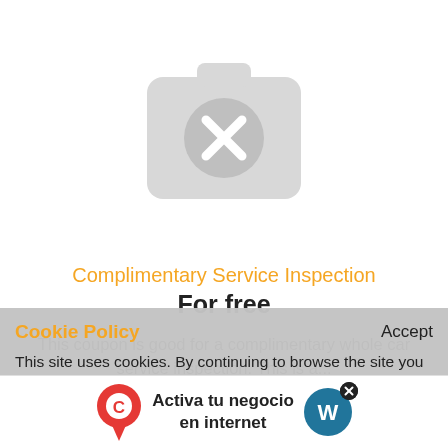[Figure (illustration): Broken image placeholder icon — a camera shape with an X circle in the center, light gray color]
Complimentary Service Inspection
For free
This coupon is good for a complimentary whole car service inspection. This is a...
Cookie Policy
Accept
This site uses cookies. By continuing to browse the site you are agreeing to our use of cookies. For details see our Cookie Policy.
[Figure (infographic): Bottom advertisement banner: location pin icon on left, bold text 'Activa tu negocio en internet' in center, WordPress logo with close X button on right]